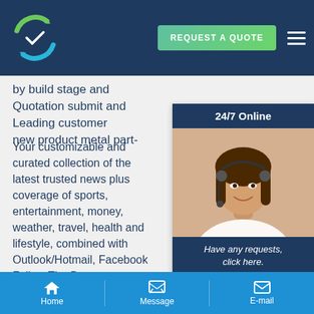[Figure (logo): Circular logo with arrows in green and blue on dark navy background header bar]
REQUEST A QUOTE
by build stage and Quotation submit and Leading customer new product metal part-
Your customizable and curated collection of the latest trusted news plus coverage of sports, entertainment, money, weather, travel, health and lifestyle, combined with Outlook/Hotmail, Facebook Follow The Denver Post newspaper for the latest headlines on Colorado local news. Find daily local breaking news, opinions, videos and community events.VEHICLE GRILL, FENDER, VEHICULAR SUPPORT ASSEMBLY, COMMANDER'S LOCK,RAMP PLATE ASSEMBLY
[Figure (photo): 24/7 Online customer service widget with photo of smiling woman with headset, caption 'Have any requests, click here.' and orange Quotation button]
Home   Message   E-mail